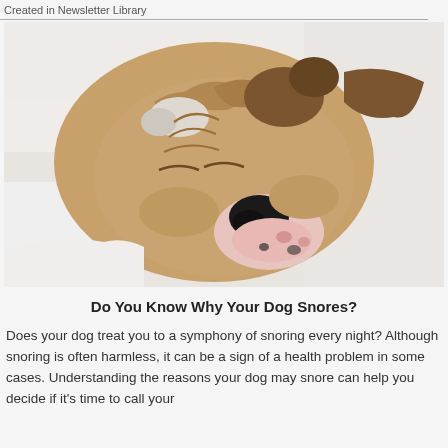Created in Newsletter Library
[Figure (photo): A bulldog sleeping with its wrinkled face resting on white bedding, eyes closed and pink-and-black nose visible in the foreground]
Do You Know Why Your Dog Snores?
Does your dog treat you to a symphony of snoring every night? Although snoring is often harmless, it can be a sign of a health problem in some cases. Understanding the reasons your dog may snore can help you decide if it's time to call your